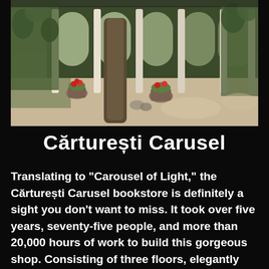[Figure (photo): A photograph of a classical courtyard with arched colonnades, white ornate columns, climbing ivy on walls, potted red flowers, and a large tree trunk in the foreground. The architecture has a Mediterranean or Romanian palazzo style.]
Cărturești Carusel
Translating to "Carousel of Light," the Cărturești Carusel bookstore is definitely a sight you don't want to miss. It took over five years, seventy-five people, and more than 20,000 hours of work to build this gorgeous shop. Consisting of three floors, elegantly curved balconies, and towers upon towers of books, Cărturești Carusel also houses a